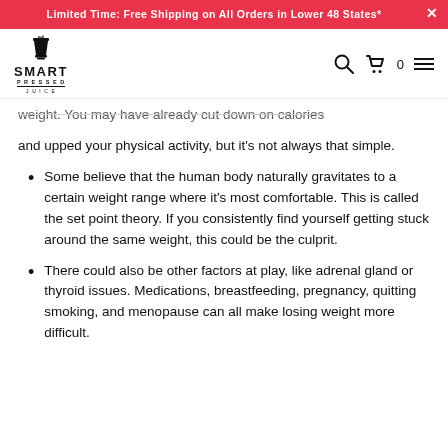Limited Time: Free Shipping on All Orders in Lower 48 States*
[Figure (logo): Smart Pressed Juice logo with blender icon and brand name]
weight. You may have already cut down on calories and upped your physical activity, but it's not always that simple.
Some believe that the human body naturally gravitates to a certain weight range where it's most comfortable. This is called the set point theory. If you consistently find yourself getting stuck around the same weight, this could be the culprit.
There could also be other factors at play, like adrenal gland or thyroid issues. Medications, breastfeeding, pregnancy, quitting smoking, and menopause can all make losing weight more difficult.